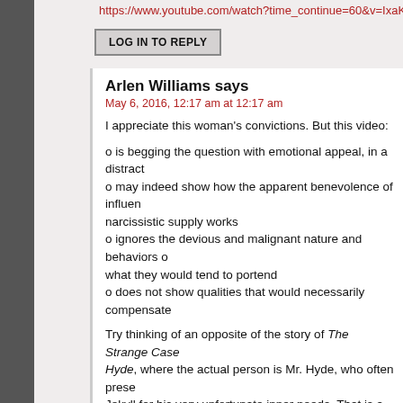https://www.youtube.com/watch?time_continue=60&v=IxaKUo5M...
LOG IN TO REPLY
Arlen Williams says
May 6, 2016, 12:17 am at 12:17 am
I appreciate this woman's convictions. But this video:
o is begging the question with emotional appeal, in a distract...
o may indeed show how the apparent benevolence of influen... narcissistic supply works
o ignores the devious and malignant nature and behaviors o... what they would tend to portend
o does not show qualities that would necessarily compensate...
Try thinking of an opposite of the story of The Strange Case... Hyde, where the actual person is Mr. Hyde, who often prese... Jekyll for his very unfortunate inner needs. That is a persona... not reliably maintain, very often not even from one moment t...
Why should Americans elect a man who is guaranteed to be... or another?
Why should we elect someone of whom we are left only to gu... self-contradictory promises and appeals he will carry out and... actually reverse?
I appreciate some of the things Donald Trump has done: alsc...